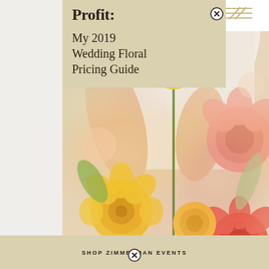Profit: My 2019 Wedding Floral Pricing Guide
[Figure (photo): A florist arranging yellow and pink/orange ranunculus and flowers, holding a tall yellow ranunculus stem, with lush floral arrangement in foreground.]
SHOP ZIMMERMAN EVENTS